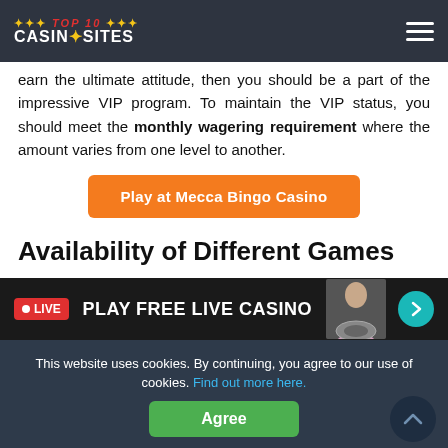TOP 10 CASINO SITES
earn the ultimate attitude, then you should be a part of the impressive VIP program. To maintain the VIP status, you should meet the monthly wagering requirement where the amount varies from one level to another.
Play at Mecca Bingo Casino
Availability of Different Games
Mecca Bingo Casino library has more than 500 game titles in its overall collection, which is something that beginners as
[Figure (screenshot): Live casino banner with LIVE badge, PLAY FREE LIVE CASINO text, dealer image, and arrow button]
This website uses cookies. By continuing, you agree to our use of cookies. Find out more here.
Agree